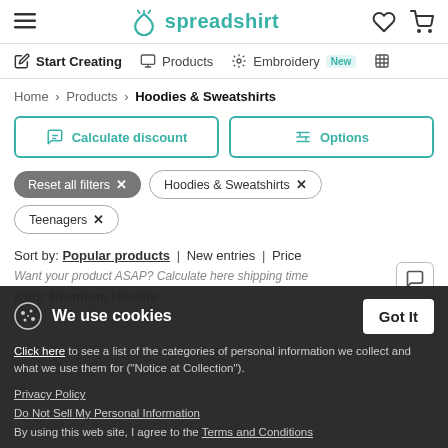Spreadshirt - navigation header with hamburger menu, logo, wishlist and cart icons
Start Creating | Products | Embroidery New
Home > Products > Hoodies & Sweatshirts
Calculate discount | Options
Reset all filters × | Hoodies & Sweatshirts × | Teenagers ×
Sort by: Popular products | New entries | Price
Want your product ASAP? Calculate here shipping time
Kids' Premium Hoodie
We use cookies - Click here to see a list of the categories of personal information we collect and what we use them for ("Notice at Collection"). Privacy Policy | Do Not Sell My Personal Information | By using this web site, I agree to the Terms and Conditions
Got It